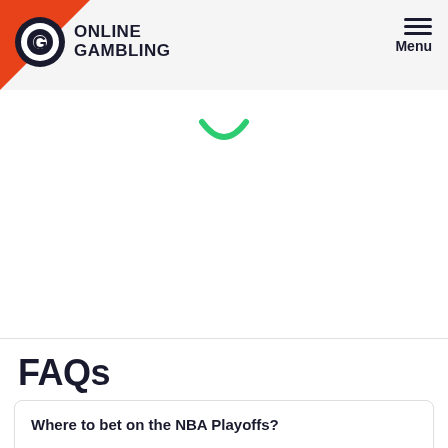ONLINE GAMBLING | Menu
[Figure (illustration): Green smile / loading arc icon centered below header]
FAQs
Where to bet on the NBA Playoffs?
You can bet on the NBA Playoffs at any of our recommended sportsbooks. Of course, these will only be available to you if you live in a state where sports betting has been legalised.